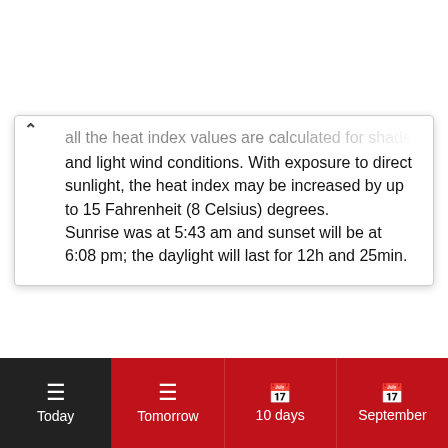...all the heat index values are calculated for shade and light wind conditions. With exposure to direct sunlight, the heat index may be increased by up to 15 Fahrenheit (8 Celsius) degrees. Sunrise was at 5:43 am and sunset will be at 6:08 pm; the daylight will last for 12h and 25min.
Today | Tomorrow | 10 days | September